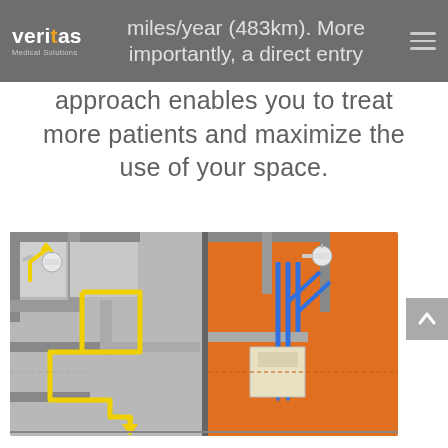Veritas Medical Solutions
miles/year (483km). More importantly, a direct entry approach enables you to treat more patients and maximize the use of your space.
[Figure (illustration): 3D diagram of a medical facility floor plan showing two room layouts side by side. Left side shows yellow arrow paths indicating patient/staff movement routes through corridors and treatment rooms. Right side shows blue arrows indicating a direct entry approach with orange-colored floor areas. Both sides have overhead dental/medical equipment visible from above.]